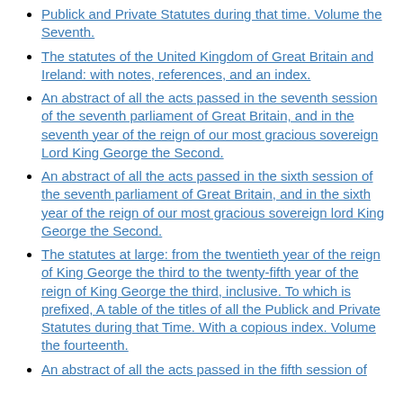Publick and Private Statutes during that time. Volume the Seventh.
The statutes of the United Kingdom of Great Britain and Ireland: with notes, references, and an index.
An abstract of all the acts passed in the seventh session of the seventh parliament of Great Britain, and in the seventh year of the reign of our most gracious sovereign Lord King George the Second.
An abstract of all the acts passed in the sixth session of the seventh parliament of Great Britain, and in the sixth year of the reign of our most gracious sovereign lord King George the Second.
The statutes at large: from the twentieth year of the reign of King George the third to the twenty-fifth year of the reign of King George the third, inclusive. To which is prefixed, A table of the titles of all the Publick and Private Statutes during that Time. With a copious index. Volume the fourteenth.
An abstract of all the acts passed in the fifth session of